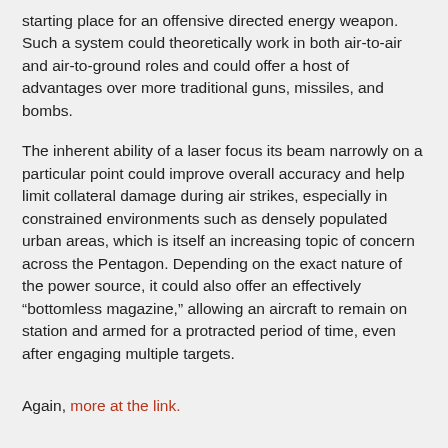starting place for an offensive directed energy weapon. Such a system could theoretically work in both air-to-air and air-to-ground roles and could offer a host of advantages over more traditional guns, missiles, and bombs.
The inherent ability of a laser focus its beam narrowly on a particular point could improve overall accuracy and help limit collateral damage during air strikes, especially in constrained environments such as densely populated urban areas, which is itself an increasing topic of concern across the Pentagon. Depending on the exact nature of the power source, it could also offer an effectively “bottomless magazine,” allowing an aircraft to remain on station and armed for a protracted period of time, even after engaging multiple targets.
Again, more at the link.